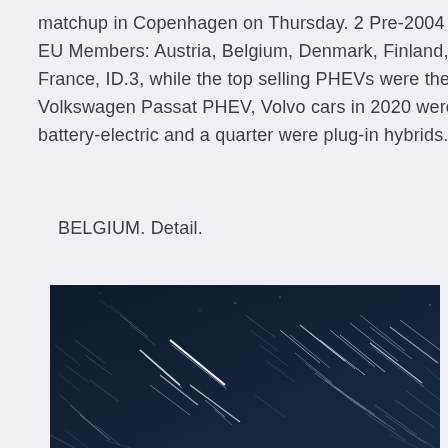matchup in Copenhagen on Thursday. 2 Pre-2004 EU Members: Austria, Belgium, Denmark, Finland, France, ID.3, while the top selling PHEVs were the Volkswagen Passat PHEV, Volvo cars in 2020 were battery-electric and a quarter were plug-in hybrids.
BELGIUM. Detail.
[Figure (photo): Long-exposure night sky photograph showing star trails as diagonal streaks of white and light blue light against a very dark navy blue background. The trails are oriented diagonally from upper-left to lower-right.]